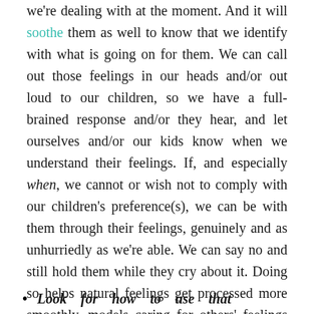we're dealing with at the moment. And it will soothe them as well to know that we identify with what is going on for them. We can call out those feelings in our heads and/or out loud to our children, so we have a full-brained response and/or they hear, and let ourselves and/or our kids know when we understand their feelings. If, and especially when, we cannot or wish not to comply with our children's preference(s), we can be with them through their feelings, genuinely and as unhurriedly as we're able. We can say no and still hold them while they cry about it. Doing so helps natural feelings get processed more smoothly, models caring for others' feelings to our children, and nurtures the relationship that inspires teamwork and cooperation.
Look for how to use that